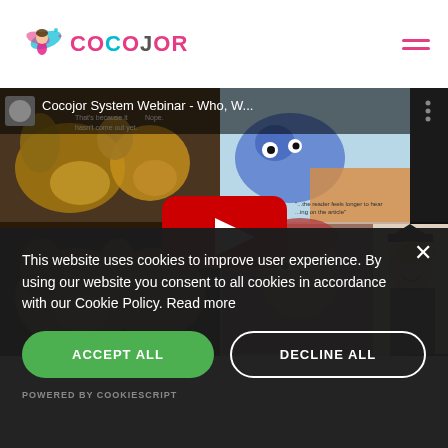[Figure (logo): Cocojor logo with fairy illustration and colorful brand name text]
[Figure (screenshot): YouTube video thumbnail titled 'Cocojor System Webinar - Who, W...' showing collage of dog memes, a blue cartoon dog, and before/after transformation photos, with a red YouTube play button overlay]
This website uses cookies to improve user experience. By using our website you consent to all cookies in accordance with our Cookie Policy. Read more
ACCEPT ALL
DECLINE ALL
POWERED BY COOKIESCRIPT